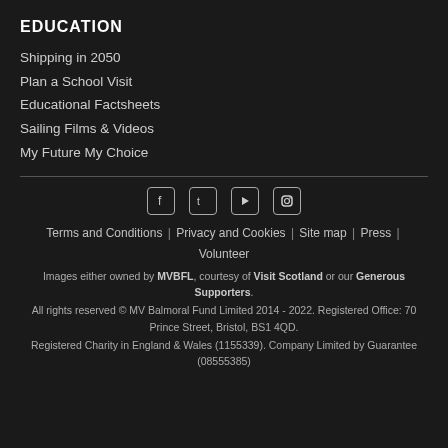EDUCATION
Shipping in 2050
Plan a School Visit
Educational Factsheets
Sailing Films & Videos
My Future My Choice
[Figure (infographic): Social media icons: Facebook, Twitter, YouTube, Instagram]
Terms and Conditions | Privacy and Cookies | Site map | Press | Volunteer
Images either owned by MVBFL, courtesy of Visit Scotland or our Generous Supporters.
All rights reserved © MV Balmoral Fund Limited 2014 - 2022. Registered Office: 70 Prince Street, Bristol, BS1 4QD.
Registered Charity in England & Wales (1155339). Company Limited by Guarantee (08555385)